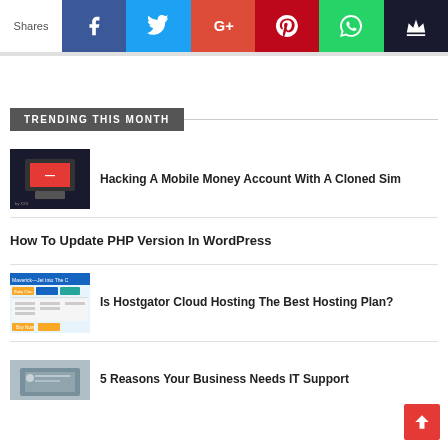Shares | Social share bar with Facebook, Twitter, Google+, Pinterest, WhatsApp, Crown icons
TRENDING THIS MONTH
[Figure (photo): Phone with red screen and SIM card on dark background]
Hacking A Mobile Money Account With A Cloned Sim
How To Update PHP Version In WordPress
[Figure (screenshot): Hostgator cloud hosting plan comparison page screenshot]
Is Hostgator Cloud Hosting The Best Hosting Plan?
[Figure (photo): Person working on laptop - IT support concept]
5 Reasons Your Business Needs IT Support